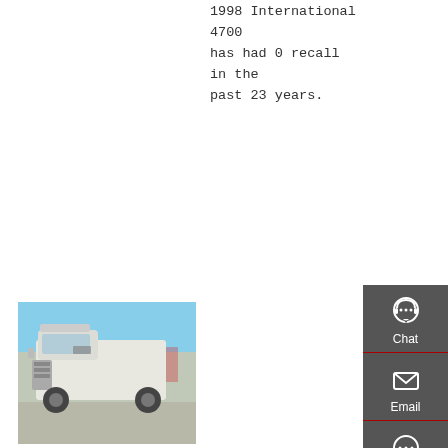1998 International 4700 has had 0 recall in the past 23 years.
Get a Quote
[Figure (photo): Photo of a white semi truck (HOWO/similar) parked in a lot with other trucks and equipment in the background under a blue sky.]
1998 International 4700 Dump Truck For Sale 28 U
Kefid · Air Condition 1998 International Dump Truck, DT466E diesel, Auto, A/C, Wi 5-7 yard body, (Exempt from Odometer Disclosure
[Figure (infographic): Dark gray sidebar with Chat, Email, Contact, and Top navigation icons]